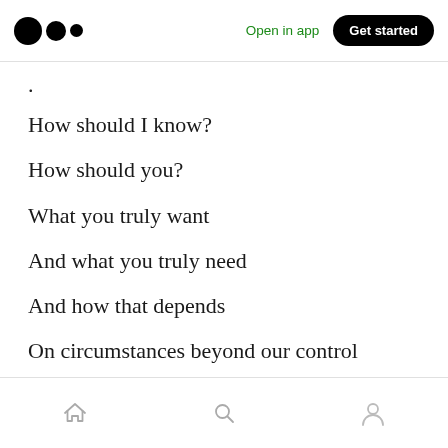Open in app | Get started
.
How should I know?
How should you?
What you truly want
And what you truly need
And how that depends
On circumstances beyond our control
Home | Search | Profile